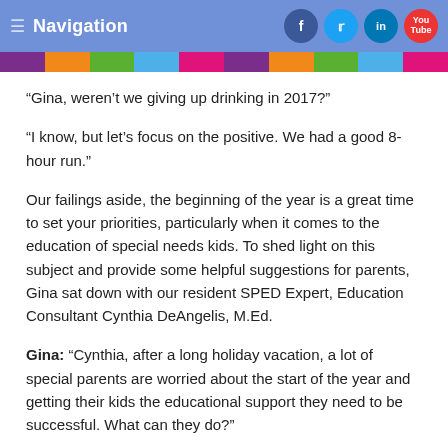Navigation
“Gina, weren’t we giving up drinking in 2017?”
“I know, but let’s focus on the positive. We had a good 8-hour run.”
Our failings aside, the beginning of the year is a great time to set your priorities, particularly when it comes to the education of special needs kids. To shed light on this subject and provide some helpful suggestions for parents, Gina sat down with our resident SPED Expert, Education Consultant Cynthia DeAngelis, M.Ed.
Gina: “Cynthia, after a long holiday vacation, a lot of special parents are worried about the start of the year and getting their kids the educational support they need to be successful. What can they do?”